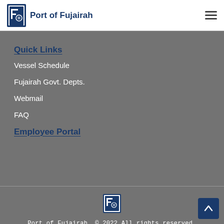Port of Fujairah
Quick Links
Vessel Schedule
Fujairah Govt. Depts.
Webmail
FAQ
Employee Portal
[Figure (logo): Port of Fujairah small logo icon in footer]
Port of Fujairah. © 2022 All rights reserved.
[Figure (logo): YouTube play button icon]